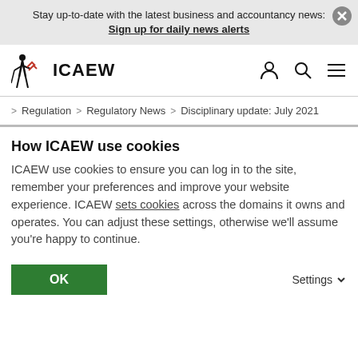Stay up-to-date with the latest business and accountancy news: Sign up for daily news alerts
[Figure (logo): ICAEW logo with figure holding a sword and red chevron mark]
> Regulation > Regulatory News > Disciplinary update: July 2021
How ICAEW use cookies
ICAEW use cookies to ensure you can log in to the site, remember your preferences and improve your website experience. ICAEW sets cookies across the domains it owns and operates. You can adjust these settings, otherwise we'll assume you're happy to continue.
OK
Settings